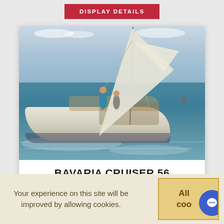DISPLAY DETAILS
[Figure (photo): Bavaria Cruiser 56 sailboat sailing on choppy water with two crew members on deck, white sails raised, under a partly cloudy sky]
BAVARIA CRUISER 56
Your experience on this site will be improved by allowing cookies.
Allow cookies